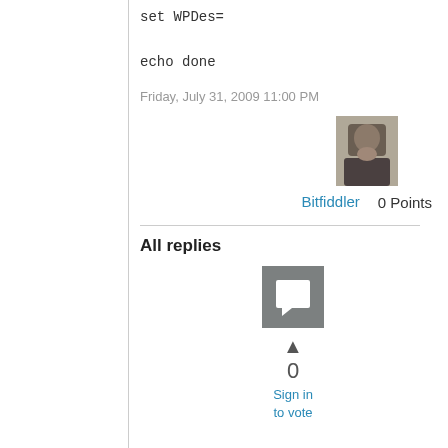set WPDes=

echo done
Friday, July 31, 2009 11:00 PM
[Figure (photo): User avatar photo for Bitfiddler]
Bitfiddler   0 Points
All replies
[Figure (other): Reply icon - gray square with white speech bubble]
▲
0
Sign in to vote